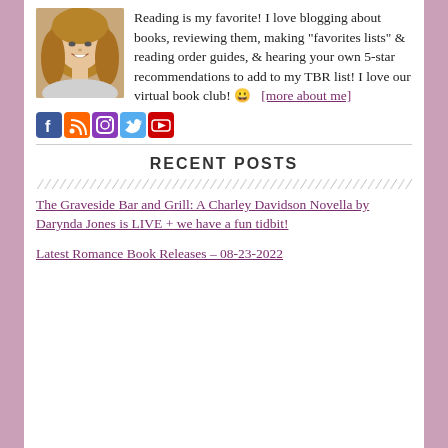[Figure (photo): Profile photo of a smiling woman with light brown wavy hair]
Reading is my favorite! I love blogging about books, reviewing them, making "favorites lists" & reading order guides, & hearing your own 5-star recommendations to add to my TBR list! I love our virtual book club! 😊 [more about me]
[Figure (infographic): Row of social media icons: Facebook, RSS, Instagram, Twitter, YouTube]
RECENT POSTS
The Graveside Bar and Grill: A Charley Davidson Novella by Darynda Jones is LIVE + we have a fun tidbit!
Latest Romance Book Releases – 08-23-2022